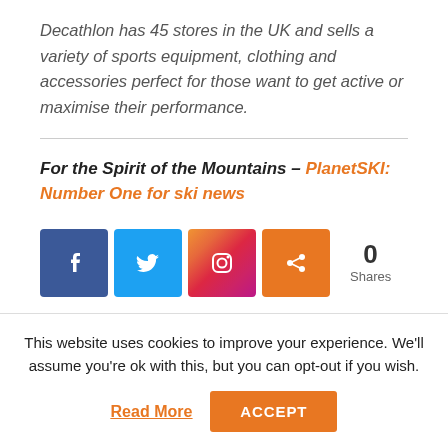Decathlon has 45 stores in the UK and sells a variety of sports equipment, clothing and accessories perfect for those want to get active or maximise their performance.
For the Spirit of the Mountains – PlanetSKI: Number One for ski news
[Figure (infographic): Social media share buttons: Facebook, Twitter, Instagram, Share. Share count: 0 Shares.]
‹ GUS KENWORTHY AT X GAMES ...
YOGA FOR SKIING ›
This website uses cookies to improve your experience. We'll assume you're ok with this, but you can opt-out if you wish.
Read More   ACCEPT